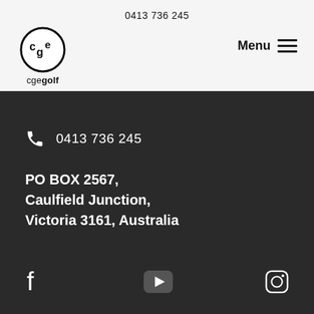0413 736 245
[Figure (logo): CGE Golf circular logo with text cgegolf below]
Menu
0413 736 245
PO BOX 2567,
Caulfield Junction,
Victoria 3161, Australia
[Figure (illustration): Social media icons: Facebook, YouTube, Instagram]